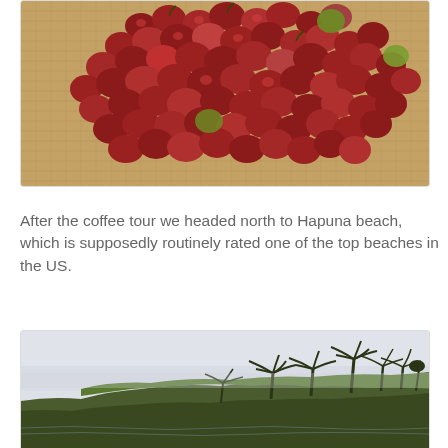[Figure (photo): Close-up photo of red coffee cherries/berries spread on burlap sacking]
After the coffee tour we headed north to Hapuna beach, which is supposedly routinely rated one of the top beaches in the US.
[Figure (photo): Coastal landscape photo showing a rocky shoreline with palm trees and lush green vegetation on a promontory against a hazy sky]